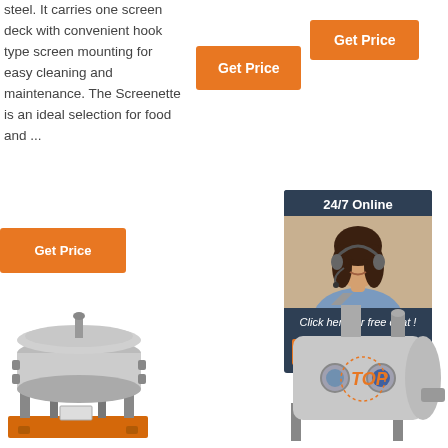steel. It carries one screen deck with convenient hook type screen mounting for easy cleaning and maintenance. The Screenette is an ideal selection for food and ...
[Figure (other): Orange 'Get Price' button (top center)]
[Figure (other): Orange 'Get Price' button (top right)]
[Figure (other): Orange 'Get Price' button (left mid)]
[Figure (other): 24/7 Online chat box with woman wearing headset, 'Click here for free chat!' text and QUOTATION button]
[Figure (photo): Industrial vibrating screen/sieve machine on orange base stand]
[Figure (photo): Industrial grinding/milling machine with TOP badge]